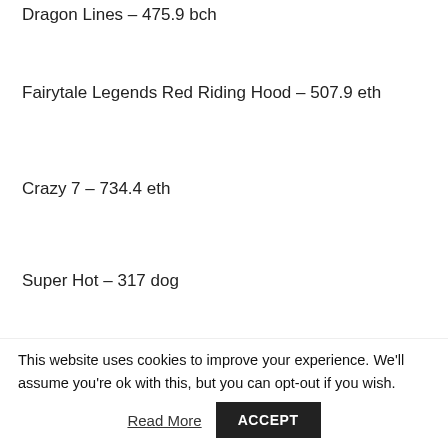Dragon Lines – 475.9 bch
Fairytale Legends Red Riding Hood – 507.9 eth
Crazy 7 – 734.4 eth
Super Hot – 317 dog
Super Lady Luck – 602.2 usdt
This website uses cookies to improve your experience. We'll assume you're ok with this, but you can opt-out if you wish.
Read More   ACCEPT